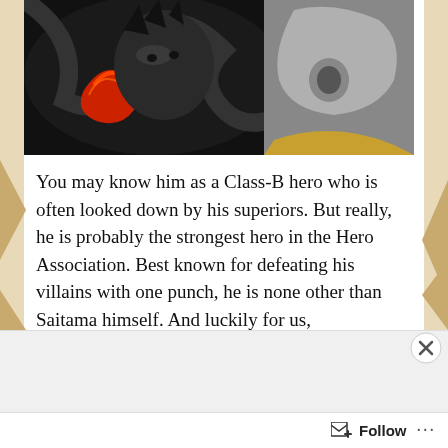[Figure (illustration): Anime illustration showing a close-up of a character (Saitama from One Punch Man) with dark hair and intense expression, with a red glowing fist visible, against a black and white stylized background with another character in silver/grey tones.]
You may know him as a Class-B hero who is often looked down by his superiors. But really, he is probably the strongest hero in the Hero Association. Best known for defeating his villains with one punch, he is none other than Saitama himself. And luckily for us, CtrlGeekPod recently sat down with [...]
Geek It! Madman Anime
[Figure (screenshot): Advertisement banner with orange/red background showing 'Search, browse, and email with more privacy.' with a smartphone mockup and DuckDuckGo logo. Button reads 'All in One Free App'. Labeled 'Advertisements' above.]
Follow ...